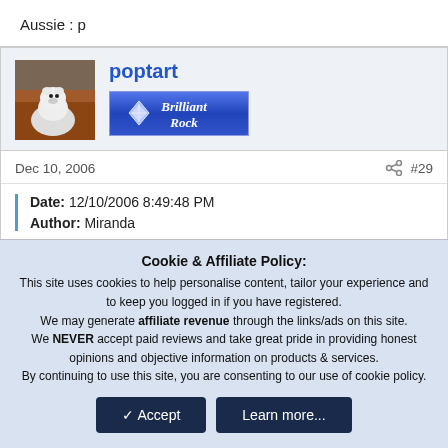Aussie : p
poptart
[Figure (illustration): Brilliant Rock badge with diamond graphic, blue gradient background, white italic text]
Dec 10, 2006   #29
Date: 12/10/2006 8:49:48 PM
Author: Miranda
Cookie & Affiliate Policy: This site uses cookies to help personalise content, tailor your experience and to keep you logged in if you have registered. We may generate affiliate revenue through the links/ads on this site. We NEVER accept paid reviews and take great pride in providing honest opinions and objective information on products & services. By continuing to use this site, you are consenting to our use of cookie policy.